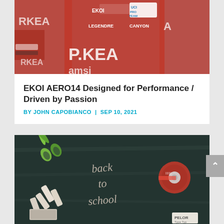[Figure (photo): Cyclists in red Arkea-Samsic team jerseys with EKOI, UCI Pro Team, Canyon, Legendre logos]
EKOI AERO14 Designed for Performance / Driven by Passion
BY JOHN CAPOBIANCO | SEP 10, 2021
[Figure (photo): Back to school chalkboard scene with green scissors, chalk pieces, red tape measure, and chalk cursive writing 'back to school']